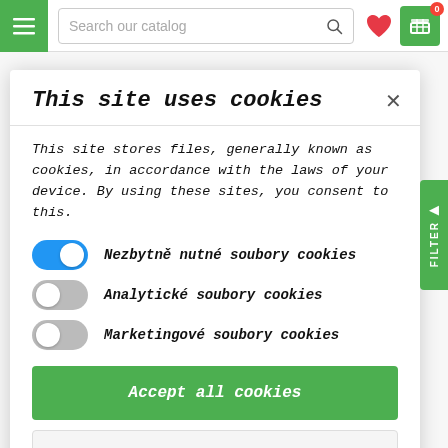Search our catalog
This site uses cookies
This site stores files, generally known as cookies, in accordance with the laws of your device. By using these sites, you consent to this.
Nezbytně nutné soubory cookies
Analytické soubory cookies
Marketingové soubory cookies
Accept all cookies
Allow only essential cookies
More information